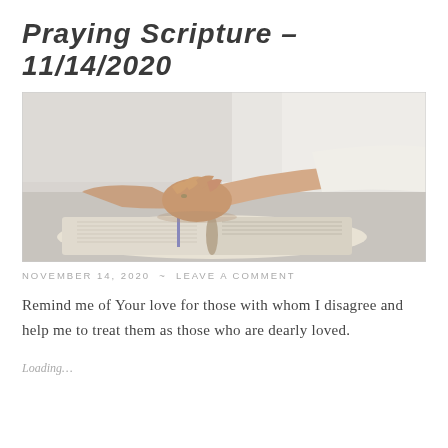Praying Scripture – 11/14/2020
[Figure (photo): A person with clasped hands resting on an open Bible, viewed from above on a white table]
NOVEMBER 14, 2020 ~ LEAVE A COMMENT
Remind me of Your love for those with whom I disagree and help me to treat them as those who are dearly loved.
Loading…